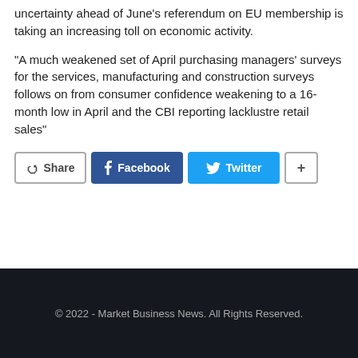uncertainty ahead of June’s referendum on EU membership is taking an increasing toll on economic activity.
“A much weakened set of April purchasing managers’ surveys for the services, manufacturing and construction surveys follows on from consumer confidence weakening to a 16-month low in April and the CBI reporting lacklustre retail sales”
[Figure (other): Share buttons row: Share (default), Facebook (blue), Twitter (blue), + (plus)]
© 2022 - Market Business News. All Rights Reserved.